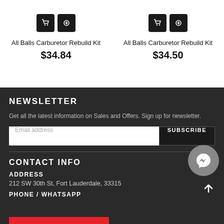All Balls Carburetor Rebuild Kit
$34.84
All Balls Carburetor Rebuild Kit
$34.50
NEWSLETTER
Get all the latest information on Sales and Offers. Sign up for newsletter.
Email address
SUBSCRIBE
CONTACT INFO
ADDRESS
212 SW 30th St, Fort Lauderdale, 33315
PHONE / WHATSAPP